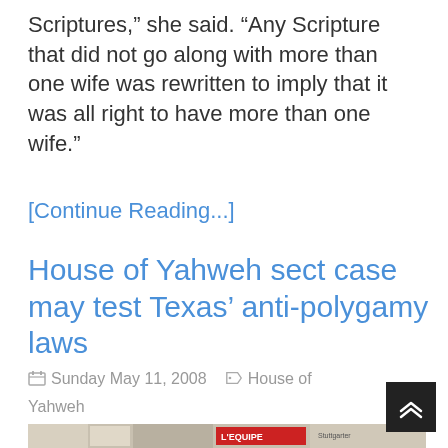Scriptures,” she said. “Any Scripture that did not go along with more than one wife was rewritten to imply that it was all right to have more than one wife.”
[Continue Reading...]
House of Yahweh sect case may test Texas’ anti-polygamy laws
Sunday May 11, 2008   House of Yahweh
[Figure (photo): Collage of newspaper front pages including L'Equipe and other publications]